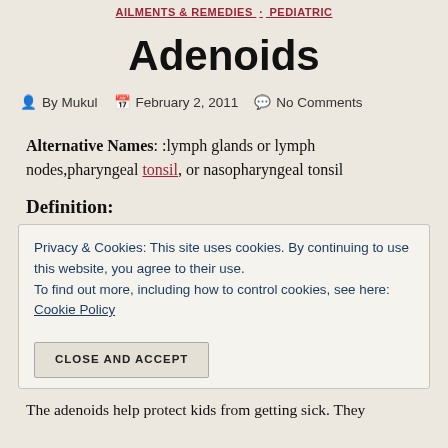AILMENTS & REMEDIES  PEDIATRIC
Adenoids
By Mukul  February 2, 2011  No Comments
Alternative Names: :lymph glands or lymph nodes,pharyngeal tonsil, or nasopharyngeal tonsil
Definition:
Privacy & Cookies: This site uses cookies. By continuing to use this website, you agree to their use. To find out more, including how to control cookies, see here: Cookie Policy
CLOSE AND ACCEPT
The adenoids help protect kids from getting sick. They